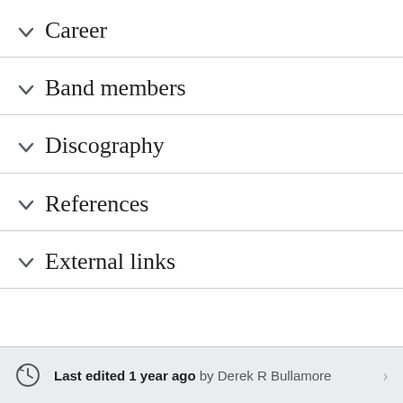Career
Band members
Discography
References
External links
Last edited 1 year ago by Derek R Bullamore